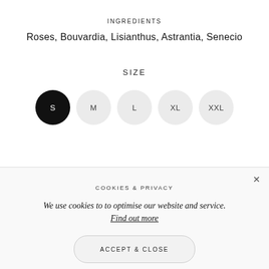INGREDIENTS
Roses, Bouvardia, Lisianthus, Astrantia, Senecio
SIZE
S M L XL XXL (size selector buttons)
COOKIES & PRIVACY
We use cookies to to optimise our website and service. Find out more
ACCEPT & CLOSE